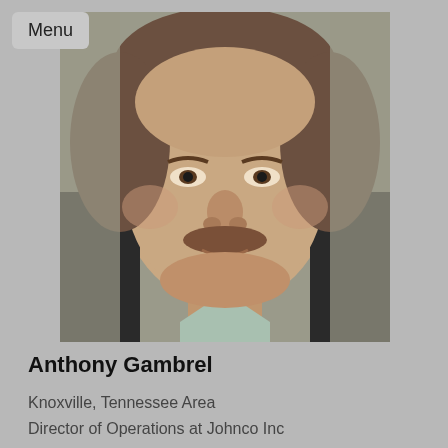Menu
[Figure (photo): Headshot photo of Anthony Gambrel, a man with short brown hair and a mustache, wearing a dark jacket, photographed in a blurred indoor setting.]
Anthony Gambrel
Knoxville, Tennessee Area
Director of Operations at Johnco Inc